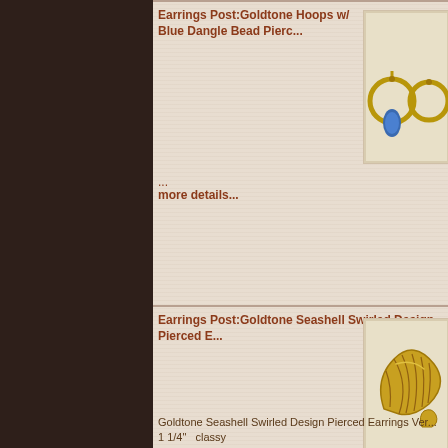Earrings Post:Goldtone Hoops w/ Blue Dangle Bead Pierced E...
[Figure (photo): Gold hoop earrings with blue dangle bead]
...
more details...
Earrings Post:Goldtone Seashell Swirled Design Pierced E...
[Figure (photo): Goldtone seashell swirled design pierced earrings]
Goldtone Seashell Swirled Design Pierced Earrings Ver... 1 1/4" classy